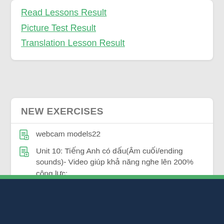Read Lessons Result
Picture Test Result
Translation Lesson Result
NEW EXERCISES
webcam models22
Unit 10: Tiếng Anh có dấu(Âm cuối/ending sounds)- Video giúp khả năng nghe lên 200% công lực:
Part 4 Unit 10 Starter Dictation
Part 3 Unit 10 Starter Dictation
Part 2 Unit 10 Starter Dictation